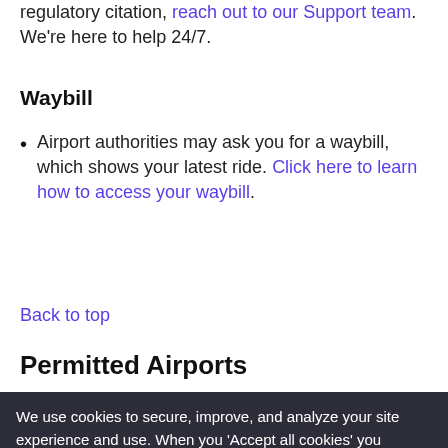regulatory citation, reach out to our Support team. We're here to help 24/7.
Waybill
Airport authorities may ask you for a waybill, which shows your latest ride. Click here to learn how to access your waybill.
Back to top
Permitted Airports
We use cookies to secure, improve, and analyze your site experience and use. When you 'Accept all cookies' you consent to Lyft using additional cookies to personalize your experience and ads and direct us to share information they collect with our cookie providers. Privacy Policy